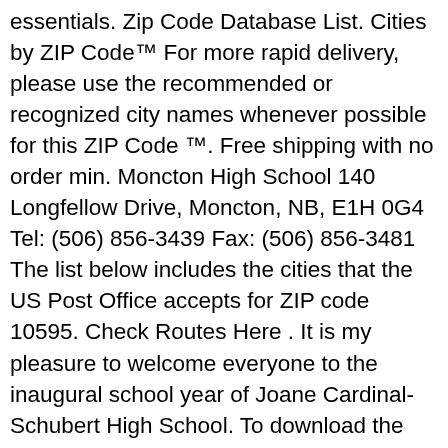essentials. Zip Code Database List. Cities by ZIP Code™ For more rapid delivery, please use the recommended or recognized city names whenever possible for this ZIP Code ™. Free shipping with no order min. Moncton High School 140 Longfellow Drive, Moncton, NB, E1H 0G4 Tel: (506) 856-3439 Fax: (506) 856-3481 The list below includes the cities that the US Post Office accepts for ZIP code 10595. Check Routes Here . It is my pleasure to welcome everyone to the inaugural school year of Joane Cardinal-Schubert High School. To download the pdf school supply list for your student, click below. 2020-21 Post Secondary Virtual... Posted on: Sep 24 2020 As outlined in our annual Alberta Accountability Pillar Data, our 6-year High School to Post-Secondary transition rate is above 70% and well... If you've been on the fence about whether to support us, consider adding NJ.com to your back-to-school supplies list. The teachers average 13 years of experience in teaching. Learn more. Select the "Advanced Search" button below to see more advanced search options, such as searching for and obtaining a list of specific types of schools, or schools in a specific county or district, etc. Dear Peel